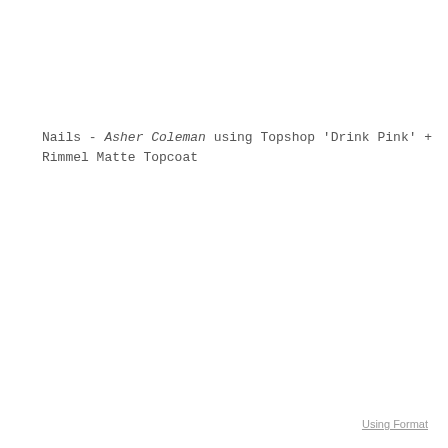Nails - Asher Coleman using Topshop 'Drink Pink' + Rimmel Matte Topcoat
Using Format